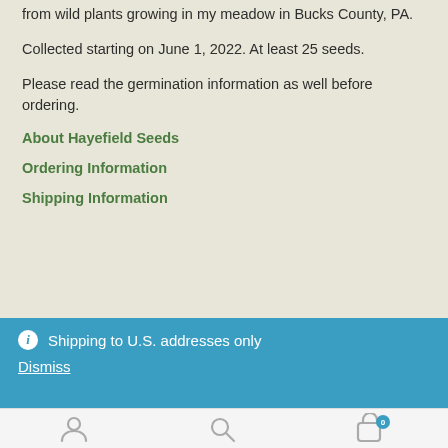from wild plants growing in my meadow in Bucks County, PA.
Collected starting on June 1, 2022. At least 25 seeds.
Please read the germination information as well before ordering.
About Hayefield Seeds
Ordering Information
Shipping Information
ⓘ Shipping to U.S. addresses only
Dismiss